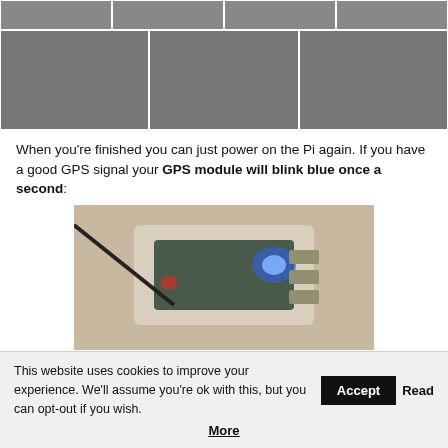[Figure (photo): Strip of four small hardware/electronics photos at top of page]
[Figure (photo): Row of three photos: close-up of blue PCB module being soldered, GPS antenna module with cable, and small PCB board]
When you're finished you can just power on the Pi again. If you have a good GPS signal your GPS module will blink blue once a second:
[Figure (photo): Photo of Raspberry Pi in clear acrylic case with blue LED lit on GPS module]
This website uses cookies to improve your experience. We'll assume you're ok with this, but you can opt-out if you wish. Accept Read More